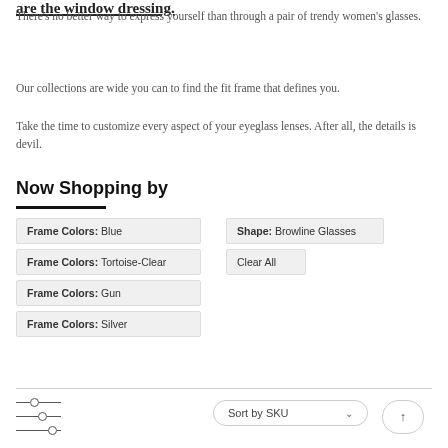are the window dressing.
There's no better way to express yourself than through a pair of trendy women's glasses.
Our collections are wide you can to find the fit frame that defines you.
Take the time to customize every aspect of your eyeglass lenses. After all, the details is devil.
Now Shopping by
Frame Colors: Blue
Frame Colors: Tortoise-Clear
Frame Colors: Gun
Frame Colors: Silver
Shape: Browline Glasses
Clear All